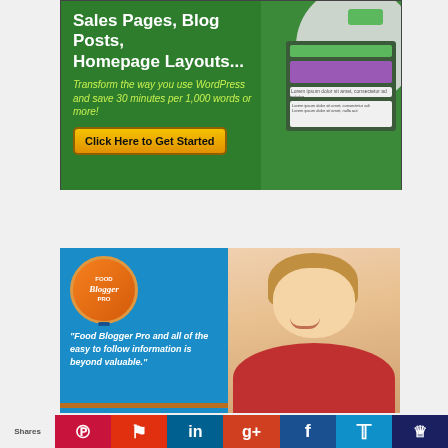[Figure (illustration): Advertisement banner for a WordPress tool. Green background with white bold text 'Sales Pages, Blog Posts, Homepage Layouts...' and italic yellow-green text 'Transform the way you use WordPress and save 30 minutes per 1,000 words or more!' with a yellow 'Click Here to Get Started' button. Right side shows UI mockup screenshot overlay.]
[Figure (illustration): Food Blogger Pro advertisement. Blue background with orange circular badge logo reading 'FOOD Blogger PRO'. White italic quote text: '"Food Blogger Pro and all of the easy to follow information is beyond valuable."' Right side shows a smiling blonde woman's photo.]
Shares | Pinterest | Flipboard | LinkedIn | Google+ | Facebook | Twitter | Crown